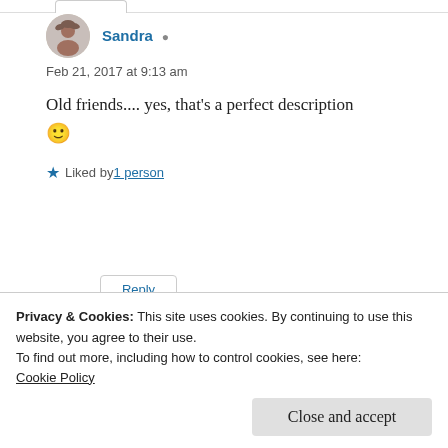Sandra ▲
Feb 21, 2017 at 9:13 am
Old friends.... yes, that's a perfect description 🙂
★ Liked by 1 person
Reply
Privacy & Cookies: This site uses cookies. By continuing to use this website, you agree to their use.
To find out more, including how to control cookies, see here: Cookie Policy
Close and accept